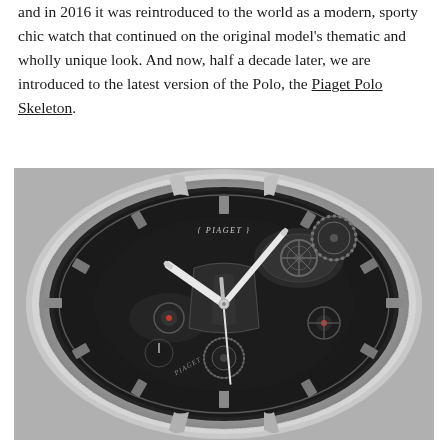and in 2016 it was reintroduced to the world as a modern, sporty chic watch that continued on the original model's thematic and wholly unique look. And now, half a decade later, we are introduced to the latest version of the Polo, the Piaget Polo Skeleton.
[Figure (photo): Close-up black and white photograph of a Piaget Polo Skeleton watch showing the skeletonized dial with visible movement, gears, and mechanical components. The Piaget brand name is visible on the dial.]